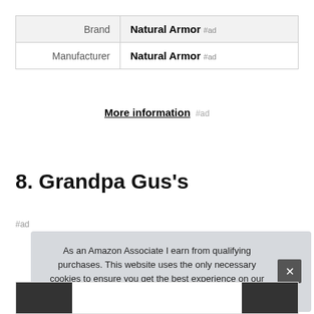|  |  |
| --- | --- |
| Brand | Natural Armor #ad |
| Manufacturer | Natural Armor #ad |
More information #ad
8. Grandpa Gus's
#ad
As an Amazon Associate I earn from qualifying purchases. This website uses the only necessary cookies to ensure you get the best experience on our website. More information